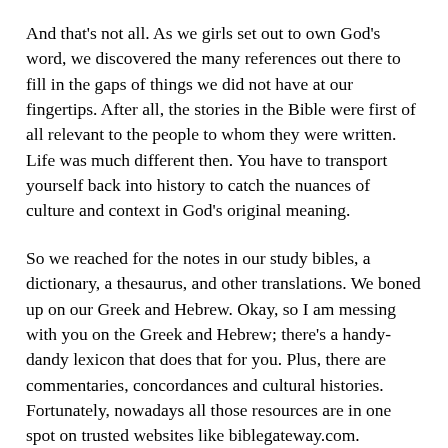understanding, with Jesus in me and the Holy Spirit to interpret truth for me.
And that's not all. As we girls set out to own God's word, we discovered the many references out there to fill in the gaps of things we did not have at our fingertips. After all, the stories in the Bible were first of all relevant to the people to whom they were written. Life was much different then. You have to transport yourself back into history to catch the nuances of culture and context in God's original meaning.
So we reached for the notes in our study bibles, a dictionary, a thesaurus, and other translations. We boned up on our Greek and Hebrew. Okay, so I am messing with you on the Greek and Hebrew; there's a handy-dandy lexicon that does that for you. Plus, there are commentaries, concordances and cultural histories. Fortunately, nowadays all those resources are in one spot on trusted websites like biblegateway.com.
Once you have caught the “plain” truth, then and only then can you make personal application—what does it mean for